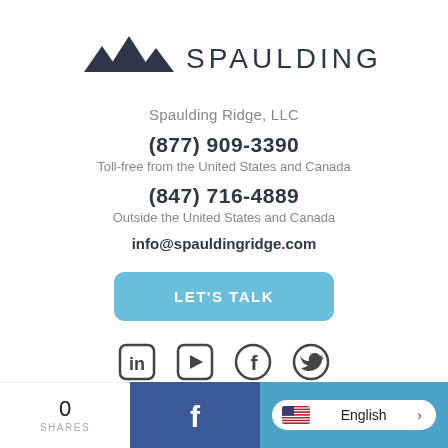[Figure (logo): Spaulding Ridge logo with mountain peaks icon and company name]
Spaulding Ridge, LLC
(877) 909-3390
Toll-free from the United States and Canada
(847) 716-4889
Outside the United States and Canada
info@spauldingridge.com
[Figure (other): LET'S TALK button in light blue]
[Figure (other): Social media icons: LinkedIn, YouTube, Facebook, Twitter]
0 SHARES  [Facebook share button]  English >